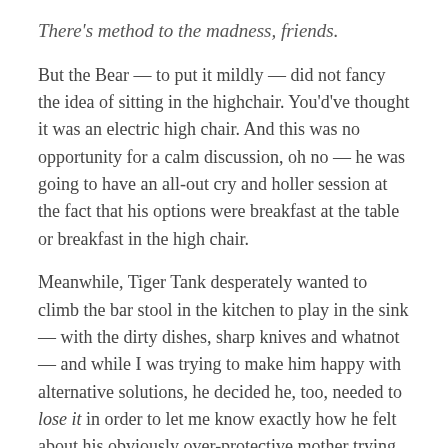There's method to the madness, friends.
But the Bear — to put it mildly — did not fancy the idea of sitting in the highchair. You'd've thought it was an electric high chair. And this was no opportunity for a calm discussion, oh no — he was going to have an all-out cry and holler session at the fact that his options were breakfast at the table or breakfast in the high chair.
Meanwhile, Tiger Tank desperately wanted to climb the bar stool in the kitchen to play in the sink — with the dirty dishes, sharp knives and whatnot — and while I was trying to make him happy with alternative solutions, he decided he, too, needed to lose it in order to let me know exactly how he felt about his obviously over-protective mother trying to avoid him slicing a finger off. I eventually had to carry him gently to his crib and let him cry it out for a few minutes, because tantrums cannot result in positive outcomes around